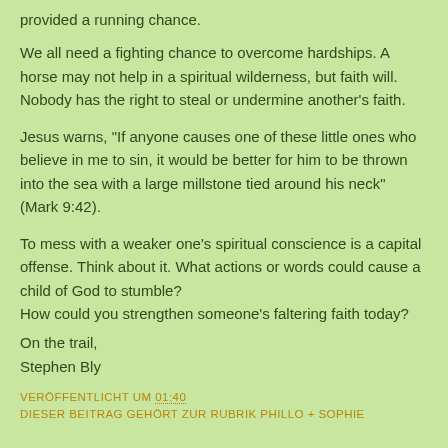provided a running chance.
We all need a fighting chance to overcome hardships. A horse may not help in a spiritual wilderness, but faith will. Nobody has the right to steal or undermine another’s faith.
Jesus warns, “If anyone causes one of these little ones who believe in me to sin, it would be better for him to be thrown into the sea with a large millstone tied around his neck” (Mark 9:42).
To mess with a weaker one’s spiritual conscience is a capital offense. Think about it. What actions or words could cause a child of God to stumble?
How could you strengthen someone’s faltering faith today?
On the trail,
Stephen Bly
VERÖFFENTLICHT UM 01:40
DIESER BEITRAG GEHÖRT ZUR RUBRIK PHILLO + SOPHIE